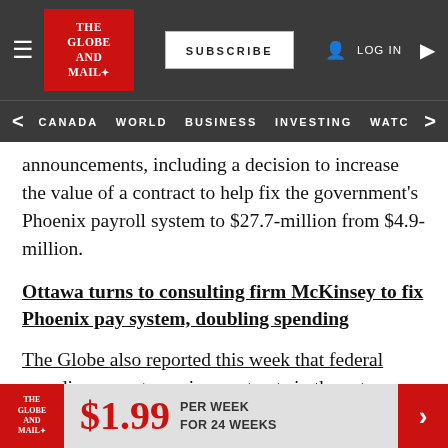The Globe and Mail — SUBSCRIBE | LOG IN
CANADA  WORLD  BUSINESS  INVESTING  WATC
announcements, including a decision to increase the value of a contract to help fix the government's Phoenix payroll system to $27.7-million from $4.9-million.
Ottawa turns to consulting firm McKinsey to fix Phoenix pay system, doubling spending
The Globe also reported this week that federal spending on outsourcing contracts in the category of professional and special services increased by more than 40 per cent since the Liberals formed
$1.99 PER WEEK FOR 24 WEEKS